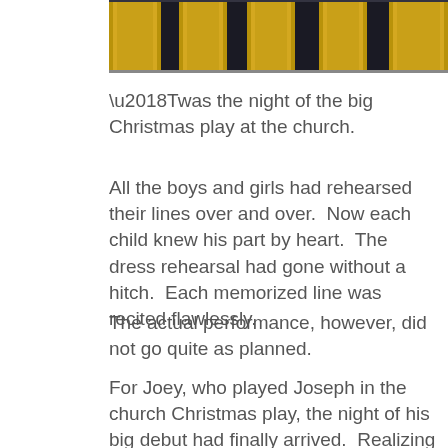[Figure (photo): Top portion of a photograph showing golden/yellow doors or pillars with dark architectural details, appears to be a church entrance or ornate building facade.]
‘Twas the night of the big Christmas play at the church.
All the boys and girls had rehearsed their lines over and over.  Now each child knew his part by heart.  The dress rehearsal had gone without a hitch.  Each memorized line was recited flawlessly.
The actual performance, however, did not go quite as planned.
For Joey, who played Joseph in the church Christmas play, the night of his big debut had finally arrived.  Realizing his parents and